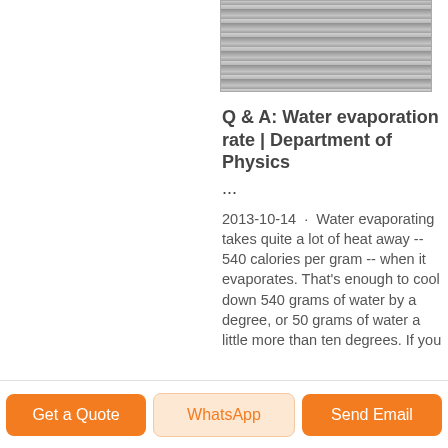[Figure (photo): Photo of a metallic coil/wire spool, gray spiral tubing]
Q & A: Water evaporation rate | Department of Physics ...
2013-10-14 · Water evaporating takes quite a lot of heat away -- 540 calories per gram -- when it evaporates. That's enough to cool down 540 grams of water by a degree, or 50 grams of water a little more than ten degrees. If you
Get a Quote   WhatsApp   Send Email